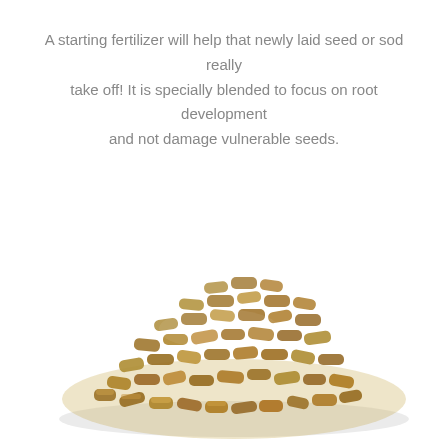A starting fertilizer will help that newly laid seed or sod really take off! It is specially blended to focus on root development and not damage vulnerable seeds.
[Figure (photo): A pile of small cylindrical fertilizer pellets, olive/golden-brown in color, arranged in a mound shape on a white background.]